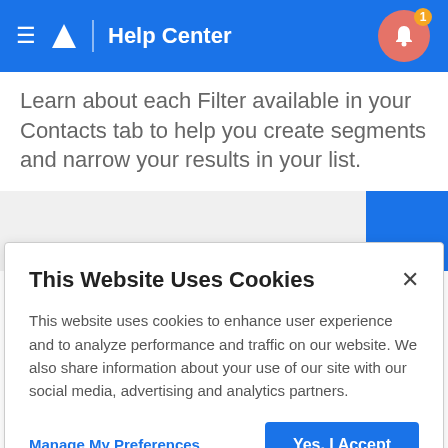Help Center
Learn about each Filter available in your Contacts tab to help you create segments and narrow your results in your list.
[Figure (screenshot): A partial UI screenshot showing a light gray content strip with a blue rectangle on the right side]
This Website Uses Cookies
This website uses cookies to enhance user experience and to analyze performance and traffic on our website. We also share information about your use of our site with our social media, advertising and analytics partners.
Manage My Preferences
Yes, I Accept